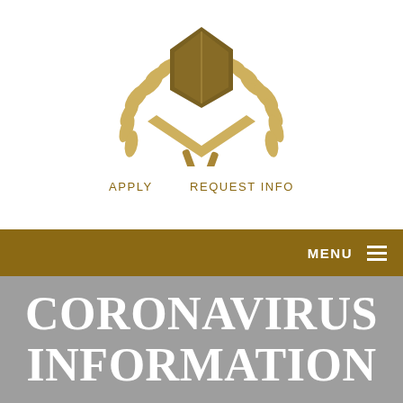[Figure (logo): University crest/emblem in gold/tan color featuring laurel branches and a shield/chevron design]
APPLY   REQUEST INFO
MENU ≡
CORONAVIRUS INFORMATION